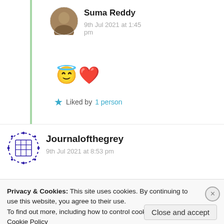[Figure (photo): Circular avatar/profile photo of Suma Reddy, a woman with dark hair]
Suma Reddy
9th Jul 2021 at 1:45 pm
😇❤️
★ Liked by 1 person
[Figure (logo): Circular logo for Journalofthegrey with blue grid/dots pattern on white]
Journalofthegrey
9th Jul 2021 at 8:53 pm
Privacy & Cookies: This site uses cookies. By continuing to use this website, you agree to their use.
To find out more, including how to control cookies, see here: Cookie Policy
Close and accept